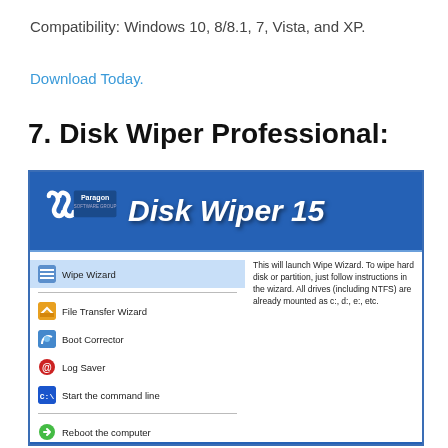Compatibility: Windows 10, 8/8.1, 7, Vista, and XP.
Download Today.
7. Disk Wiper Professional:
[Figure (screenshot): Screenshot of Paragon Disk Wiper 15 software interface showing a blue banner with logo and the main menu with options: Wipe Wizard (selected), File Transfer Wizard, Boot Corrector, Log Saver, Start the command line, Reboot the computer, Power off. Right panel shows description text for Wipe Wizard.]